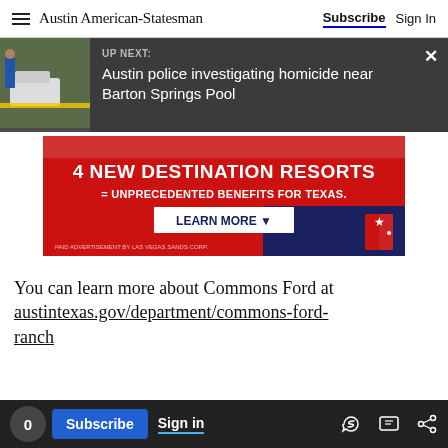Austin American-Statesman — Subscribe | Sign In
[Figure (screenshot): Up Next banner with thumbnail of crime scene photo and text: UP NEXT: Austin police investigating homicide near Barton Springs Pool, with X close button]
[Figure (infographic): Advertisement banner: 4 NEW DESTINATION RESORTS = UNPRECEDENTED BENEFITS FOR TEXAS. LEARN MORE button. PAID ADVERTISEMENT BY LAS VEGAS SANDS CORP.]
You can learn more about Commons Ford at austintexas.gov/department/commons-ford-ranch
0 Subscribe Sign in [link icon] [comment icon] [share icon]